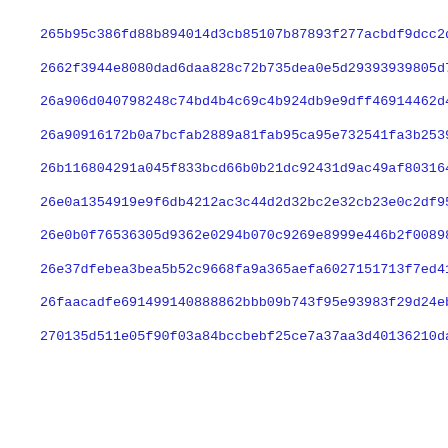265b95c386fd88b894014d3cb85107b87893f277acbdf9dcc2d5537c065b3
2662f3944e8080dad6daa828c72b735dea0e5d29393939805d75ba6ff2e46
26a906d040798248c74bd4b4c69c4b924db9e9dff46914462d40d1b043214
26a90916172b0a7bcfab2889a81fab95ca95e732541fa3b2539aa6dfca315
26b116804291a045f833bcd66b0b21dc92431d9ac49af803164a84d69b8ab
26e0a1354919e9f6db4212ac3c44d2d32bc2e32cb23e0c2df9541ca68b1d2
26e0b0f76536305d9362e0294b070c9269e8999e446b2f008987c0d4da907
26e37dfebea3bea5b52c9668fa9a365aefa6027151713f7ed41f15b7e763a
26faacadfe691499140888862bbb09b743f95e93983f29d24ebb252df4dd48
270135d511e05f90f03a84bccbebf25ce7a37aa3d40136210dac3c6865a20